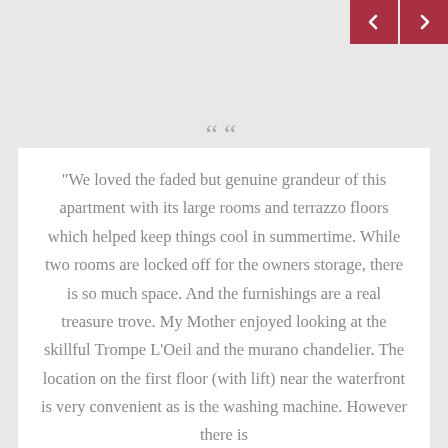[Figure (other): Navigation arrow buttons (previous and next) in dark red/crimson color positioned at top right corner]
““
"We loved the faded but genuine grandeur of this apartment with its large rooms and terrazzo floors which helped keep things cool in summertime. While two rooms are locked off for the owners storage, there is so much space. And the furnishings are a real treasure trove. My Mother enjoyed looking at the skillful Trompe L'Oeil and the murano chandelier. The location on the first floor (with lift) near the waterfront is very convenient as is the washing machine. However there is